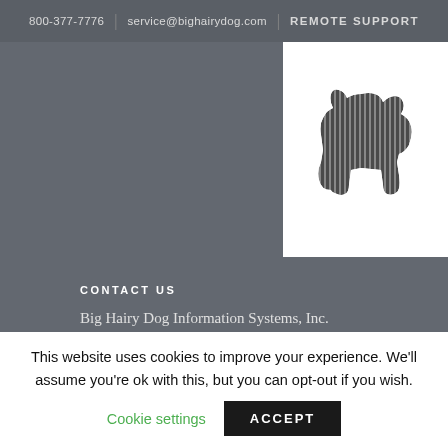800-377-7776 | service@bighairydog.com | REMOTE SUPPORT
[Figure (logo): Big Hairy Dog striped dog silhouette logo on white background]
CONTACT US
Big Hairy Dog Information Systems, Inc.
3205 Ramos Circle Sacramento, CA 95827
P: 800.377.7776 F: 916.368.1411
email: service@BigHairyDog.com
[Figure (logo): Retail Pro logo with blue shopping bag icon and retail|pro text]
This website uses cookies to improve your experience. We'll assume you're ok with this, but you can opt-out if you wish.
Cookie settings   ACCEPT